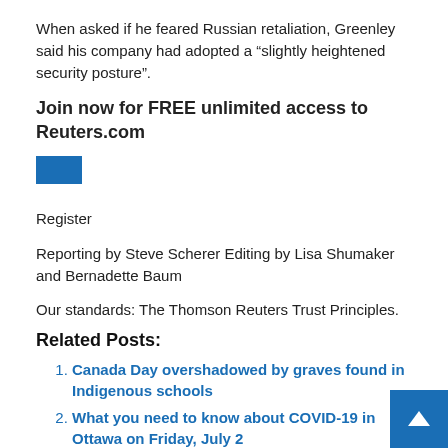When asked if he feared Russian retaliation, Greenley said his company had adopted a “slightly heightened security posture”.
Join now for FREE unlimited access to Reuters.com
[Figure (other): Blue rectangle button]
Register
Reporting by Steve Scherer Editing by Lisa Shumaker and Bernadette Baum
Our standards: The Thomson Reuters Trust Principles.
Related Posts:
Canada Day overshadowed by graves found in Indigenous schools
What you need to know about COVID-19 in Ottawa on Friday, July 2
“The Biggest Small Town in Canada”: Miniature Exhibit